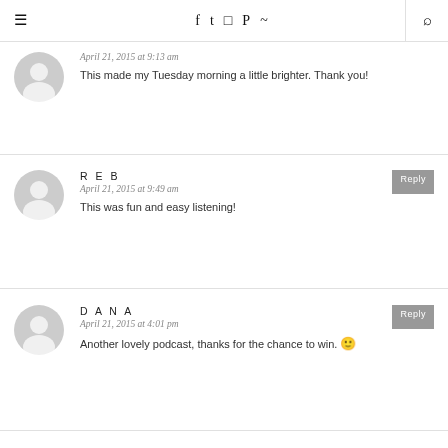☰ | f | twitter | instagram | pinterest | rss | search
April 21, 2015 at 9:13 am
This made my Tuesday morning a little brighter. Thank you!
REB
April 21, 2015 at 9:49 am
This was fun and easy listening!
DANA
April 21, 2015 at 4:01 pm
Another lovely podcast, thanks for the chance to win. 🙂